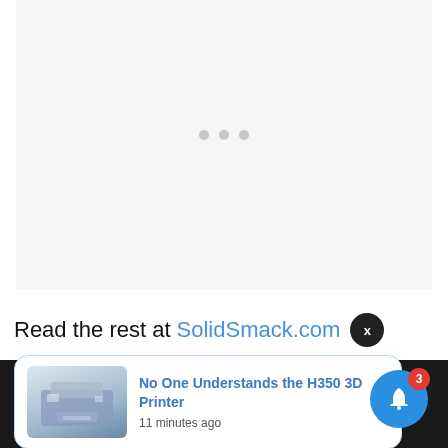[Figure (screenshot): Light gray loading/placeholder area with three gray dots in the center, indicating content loading state]
Read the rest at SolidSmack.com
[Figure (screenshot): Notification card with image of H350 3D Printer and text 'No One Understands the H350 3D Printer' with timestamp '11 minutes ago']
No One Understands the H350 3D Printer
11 minutes ago